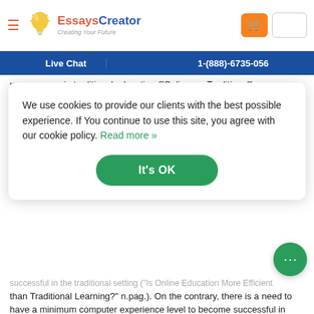[Figure (logo): EssaysCreator logo with lightbulb icon and tagline 'Creating Your Future']
Live Chat   1-(888)-6735-056
unnecessary in traditional education (“Online vs. Traditional” n.pag.) Technology can be a major problem if a student lives in a lower
We use cookies to provide our clients with the best possible experience. If You continue to use this site, you agree with our cookie policy. Read more »
successful in the traditional setting (“Is Online Education More Efficient than Traditional Learning?” n.pag.). On the contrary, there is a need to have a minimum computer experience level to become successful in online setting. One should be capable of using a wide range of search engines, as well as feel comfortable navigating around the worldwide website. One must be familiar with newsgroups and know how to use email. If a student or instructor does not know how to use the tools of technology, it would be hard to attain success in online education program.